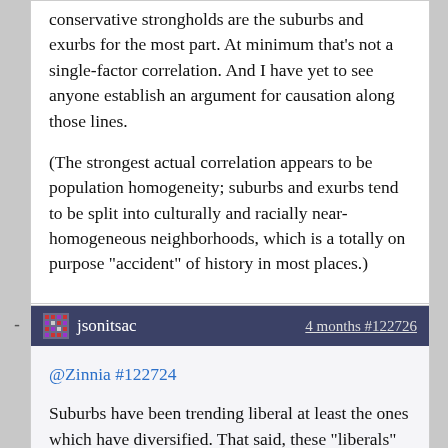conservative strongholds are the suburbs and exurbs for the most part. At minimum that's not a single-factor correlation. And I have yet to see anyone establish an argument for causation along those lines.
(The strongest actual correlation appears to be population homogeneity; suburbs and exurbs tend to be split into culturally and racially near-homogeneous neighborhoods, which is a totally on purpose “accident” of history in most places.)
★ has 7 stars...
jsonitsac    4 months #122726
@Zinnia #122724
Suburbs have been trending liberal at least the ones which have diversified. That said, these “liberals” often discover